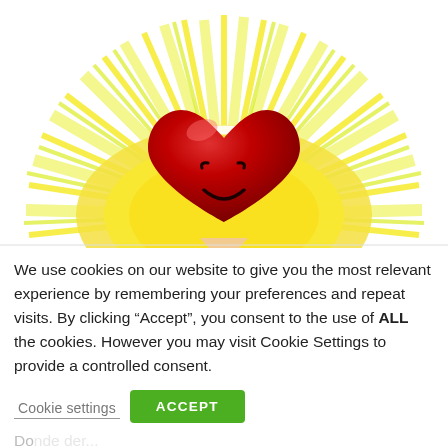[Figure (illustration): A cartoon red heart with a smiley face (closed eyes, smile), wearing a white halo ring, surrounded by yellow and yellow-green sun rays radiating outward on a white background. The bottom of the illustration is clipped.]
We use cookies on our website to give you the most relevant experience by remembering your preferences and repeat visits. By clicking “Accept”, you consent to the use of ALL the cookies. However you may visit Cookie Settings to provide a controlled consent.
Do... Cookie settings der... ACCEPT be doing more to keep your